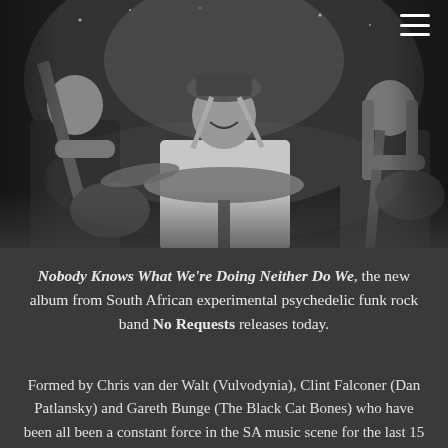[Figure (photo): Black and white photograph of three band members performing on stage. Left member plays bass guitar, center member plays drums and is smiling, right member plays electric guitar. Dark dramatic lighting.]
Nobody Knows What We're Doing Neither Do We, the new album from South African experimental psychedelic funk rock band No Requests releases today.
Formed by Chris van der Walt (Vulvodynia), Clint Falconer (Dan Patlansky) and Gareth Bunge (The Black Cat Bones) who have been all been a constant force in the SA music scene for the last 15 years...